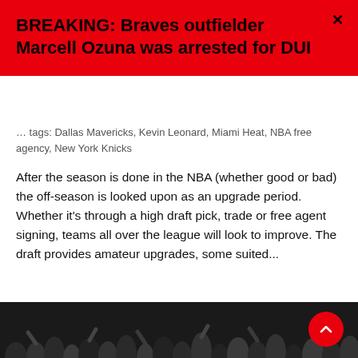BREAKING: Braves outfielder Marcell Ozuna was arrested for DUI
...tags: Dallas Mavericks, Kevin Leonard, Miami Heat, NBA free agency, New York Knicks
After the season is done in the NBA (whether good or bad) the off-season is looked upon as an upgrade period. Whether it's through a high draft pick, trade or free agent signing, teams all over the league will look to improve. The draft provides amateur upgrades, some suited...
Continue Reading →
[Figure (photo): Black and white crowd/audience photo at bottom of page]